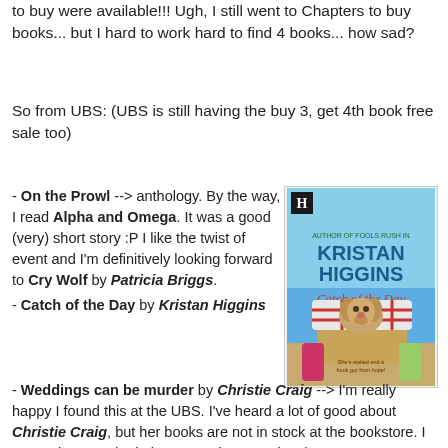to buy were available!!! Ugh, I still went to Chapters to buy books... but I hard to work hard to find 4 books... how sad?
So from UBS: (UBS is still having the buy 3, get 4th book free sale too)
- On the Prowl --> anthology. By the way, I read Alpha and Omega. It was a good (very) short story :P I like the twist of event and I'm definitively looking forward to Cry Wolf by Patricia Briggs.
- Catch of the Day by Kristan Higgins
[Figure (photo): Book cover of 'Catch of the Day' by Kristan Higgins, showing a puppy in a picnic basket with a checkered cloth]
- Weddings can be murder by Christie Craig --> I'm really happy I found this at the UBS. I've heard a lot of good about Christie Craig, but her books are not in stock at the bookstore. I was going to order it, but now I don't need to :)
- Chances Are by Barbara Bretton --> I enjoyed Just Desserts last week-end, so wanted to try something else :)